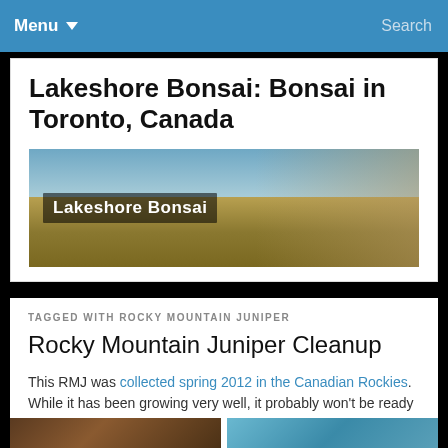Menu  Search
Lakeshore Bonsai: Bonsai in Toronto, Canada
[Figure (photo): Lakeshore Bonsai banner image showing a bonsai tree silhouette against a lake/sky background with text overlay 'Lakeshore Bonsai']
TAGGED WITH ROCKY MOUNTAIN JUNIPER
Rocky Mountain Juniper Cleanup
This RMJ was collected spring 2012 in the Canadian Rockies. While it has been growing very well, it probably won't be ready for styling work until next year.
[Figure (photo): Two thumbnail images at the bottom of the page]
[Figure (photo): Second thumbnail image at the bottom right]